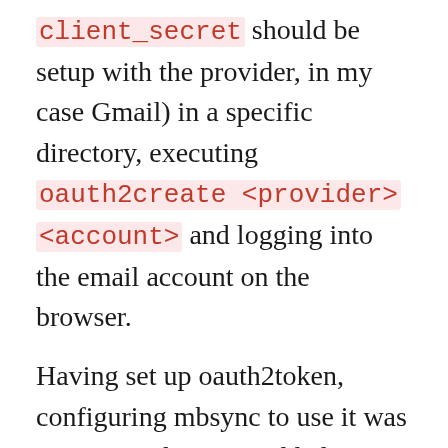client_secret should be setup with the provider, in my case Gmail) in a specific directory, executing oauth2create <provider> <account> and logging into the email account on the browser.
Having set up oauth2token, configuring mbsync to use it was pretty simple. I just added PassCmd "oauth2get <provider> <account>" in the IMAPAccount section of my .mbsyncrc, obviously changing <provider> and <account> for the values I configured in oauth2token. In my case it wasn't necessary to specify the authentication mechanism in that same section with AuthMechs XOAUTH2